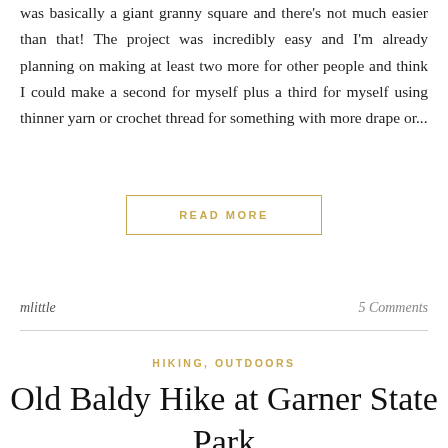was basically a giant granny square and there's not much easier than that! The project was incredibly easy and I'm already planning on making at least two more for other people and think I could make a second for myself plus a third for myself using thinner yarn or crochet thread for something with more drape or...
READ MORE
mlittle
5 Comments
HIKING, OUTDOORS
Old Baldy Hike at Garner State Park